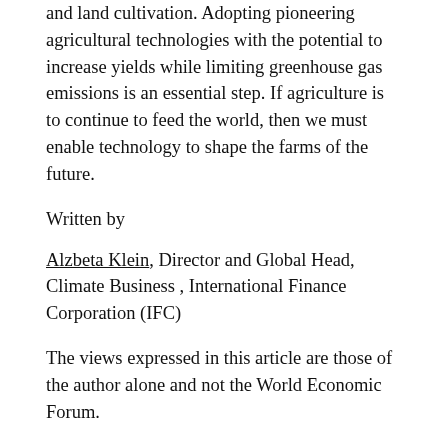and land cultivation. Adopting pioneering agricultural technologies with the potential to increase yields while limiting greenhouse gas emissions is an essential step. If agriculture is to continue to feed the world, then we must enable technology to shape the farms of the future.
Written by
Alzbeta Klein, Director and Global Head, Climate Business , International Finance Corporation (IFC)
The views expressed in this article are those of the author alone and not the World Economic Forum.
POSTED IN  Future
Leave a Reply